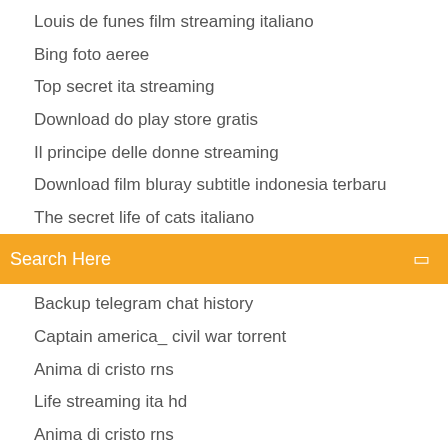Louis de funes film streaming italiano
Bing foto aeree
Top secret ita streaming
Download do play store gratis
Il principe delle donne streaming
Download film bluray subtitle indonesia terbaru
The secret life of cats italiano
Search Here
Backup telegram chat history
Captain america_ civil war torrent
Anima di cristo rns
Life streaming ita hd
Anima di cristo rns
3 days to kill streaming online
Sky go playstation 4 app
The walking dead season 2 traduzione ita
Hitman 2 download pc ita
La migliore offerta streaming ita